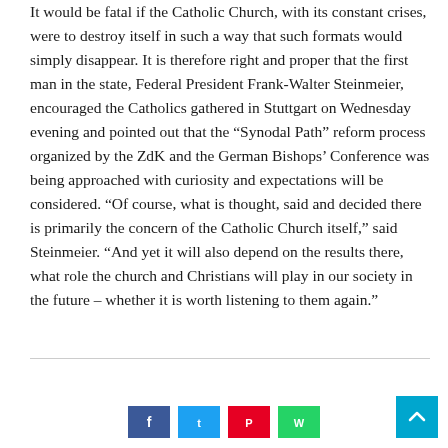It would be fatal if the Catholic Church, with its constant crises, were to destroy itself in such a way that such formats would simply disappear. It is therefore right and proper that the first man in the state, Federal President Frank-Walter Steinmeier, encouraged the Catholics gathered in Stuttgart on Wednesday evening and pointed out that the “Synodal Path” reform process organized by the ZdK and the German Bishops’ Conference was being approached with curiosity and expectations will be considered. “Of course, what is thought, said and decided there is primarily the concern of the Catholic Church itself,” said Steinmeier. “And yet it will also depend on the results there, what role the church and Christians will play in our society in the future – whether it is worth listening to them again.”